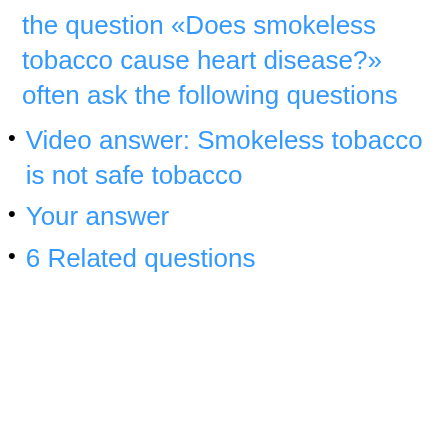the question «Does smokeless tobacco cause heart disease?» often ask the following questions
Video answer: Smokeless tobacco is not safe tobacco
Your answer
6 Related questions